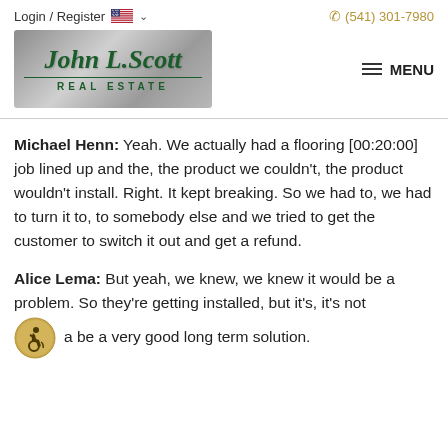Login / Register  (541) 301-7980
[Figure (logo): John L. Scott Real Estate logo with dark green gothic text on a silver/grey gradient background, with MENU hamburger icon to the right]
Michael Henn: Yeah. We actually had a flooring [00:20:00] job lined up and the, the product we couldn't, the product wouldn't install. Right. It kept breaking. So we had to, we had to turn it to, to somebody else and we tried to get the customer to switch it out and get a refund.
Alice Lema: But yeah, we knew, we knew it would be a problem. So they're getting installed, but it's, it's not going to be a very good long term solution.